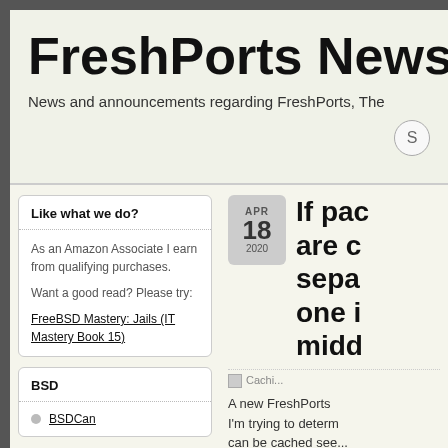FreshPorts News
News and announcements regarding FreshPorts, The
Like what we do?
As an Amazon Associate I earn from qualifying purchases.

Want a good read? Please try:
FreeBSD Mastery: Jails (IT Mastery Book 15)
BSD
BSDCan
If pac... are c sepa one i midd
Cachi...
A new FreshPorts I'm trying to determ can be cached see...